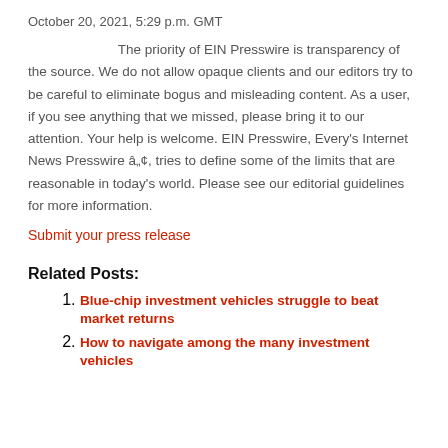October 20, 2021, 5:29 p.m. GMT
The priority of EIN Presswire is transparency of the source. We do not allow opaque clients and our editors try to be careful to eliminate bogus and misleading content. As a user, if you see anything that we missed, please bring it to our attention. Your help is welcome. EIN Presswire, Every's Internet News Presswire â„¢, tries to define some of the limits that are reasonable in today's world. Please see our editorial guidelines for more information.
Submit your press release
Related Posts:
Blue-chip investment vehicles struggle to beat market returns
How to navigate among the many investment vehicles